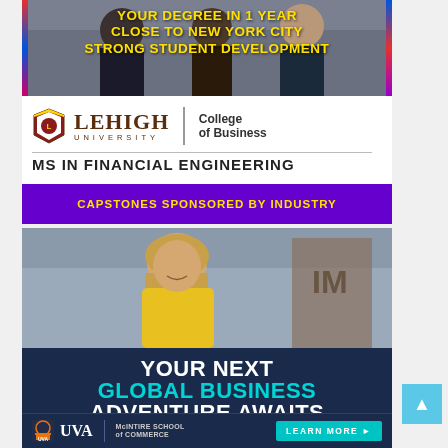[Figure (photo): Lehigh University College of Business advertisement showing three men in business attire, with yellow bold text overlaid: YOUR DEGREE IN 1 YEAR / CLOSE TO NEW YORK CITY / STRONG STUDENT DEVELOPMENT. Below the photo: Lehigh University logo and 'College of Business', then 'MS IN FINANCIAL ENGINEERING'. Purple banner at bottom: CAPSTONES SPONSORED BY INDUSTRY.]
[Figure (photo): UVA McIntire School of Commerce advertisement showing a smiling woman in yellow top with 'IM' building in background. Dark navy section with text: YOUR NEXT / GLOBAL BUSINESS / ADVENTURE AWAITS / M.S. IN GLOBAL COMMERCE. Bottom row with UVA logo, McIntire School of Commerce text, and LEARN MORE button.]